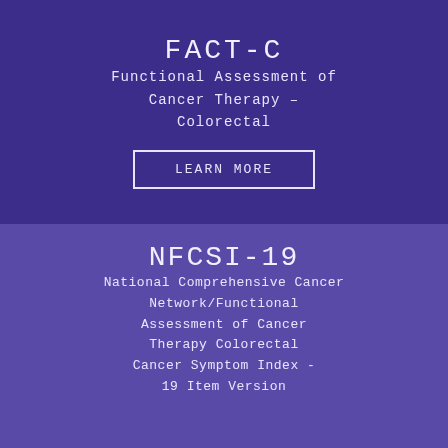FACT-C
Functional Assessment of Cancer Therapy – Colorectal
LEARN MORE
NFCSI-19
National Comprehensive Cancer Network/Functional Assessment of Cancer Therapy Colorectal Cancer Symptom Index - 19 Item Version